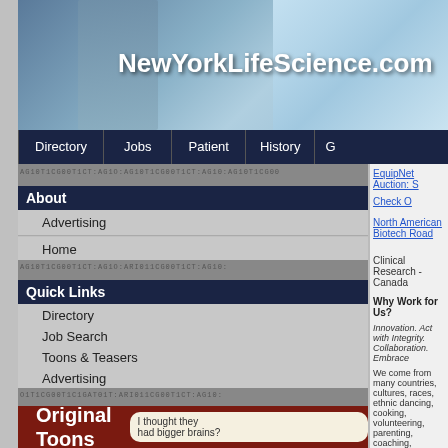[Figure (screenshot): NewYorkLifeScience.com website header banner with Statue of Liberty and scientist images]
NewYorkLifeScience.com
Directory
Jobs
Patient
History
G
About
Advertising
Home
Quick Links
Directory
Job Search
Toons & Teasers
Advertising
[Figure (illustration): Original Toons box with dark red background and speech bubble saying I thought they had bigger brains?]
EquipNet Auction: S
Check O
North American Biotech Road
Clinical Research - Canada
Why Work for Us?
Innovation. Act with Integrity. Collaboration. Embrace
We come from many countries, cultures, races, ethnic dancing, cooking, volunteering, parenting, coaching,